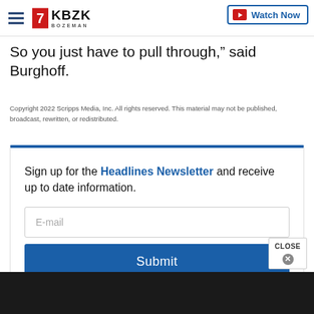KBZK BOZEMAN | Watch Now
So you just have to pull through,” said Burghoff.
Copyright 2022 Scripps Media, Inc. All rights reserved. This material may not be published, broadcast, rewritten, or redistributed.
Sign up for the Headlines Newsletter and receive up to date information.